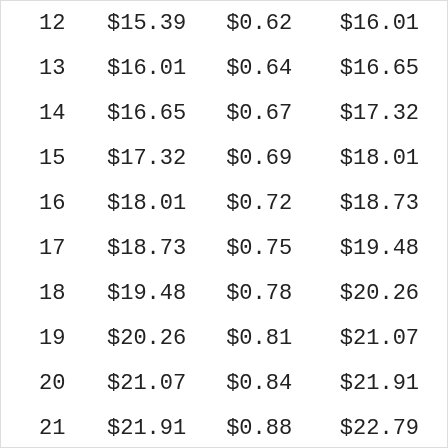| 12 | $15.39 | $0.62 | $16.01 |
| 13 | $16.01 | $0.64 | $16.65 |
| 14 | $16.65 | $0.67 | $17.32 |
| 15 | $17.32 | $0.69 | $18.01 |
| 16 | $18.01 | $0.72 | $18.73 |
| 17 | $18.73 | $0.75 | $19.48 |
| 18 | $19.48 | $0.78 | $20.26 |
| 19 | $20.26 | $0.81 | $21.07 |
| 20 | $21.07 | $0.84 | $21.91 |
| 21 | $21.91 | $0.88 | $22.79 |
| 22 | $22.79 | $0.91 | $23.70 |